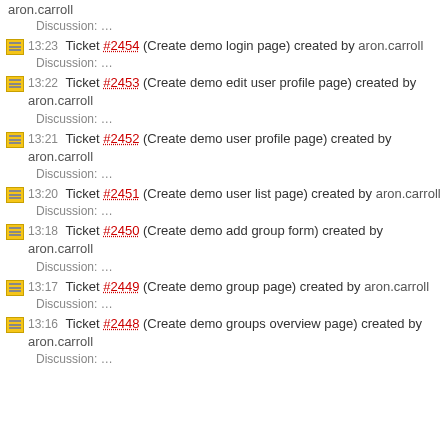aron.carroll
Discussion: …
13:23 Ticket #2454 (Create demo login page) created by aron.carroll
Discussion: …
13:22 Ticket #2453 (Create demo edit user profile page) created by aron.carroll
Discussion: …
13:21 Ticket #2452 (Create demo user profile page) created by aron.carroll
Discussion: …
13:20 Ticket #2451 (Create demo user list page) created by aron.carroll
Discussion: …
13:18 Ticket #2450 (Create demo add group form) created by aron.carroll
Discussion: …
13:17 Ticket #2449 (Create demo group page) created by aron.carroll
Discussion: …
13:16 Ticket #2448 (Create demo groups overview page) created by aron.carroll
Discussion: …